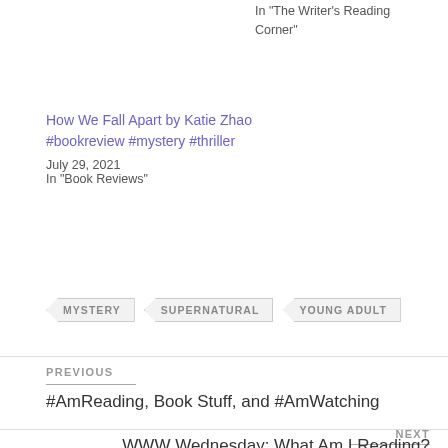In "The Writer's Reading Corner"
How We Fall Apart by Katie Zhao #bookreview #mystery #thriller
July 29, 2021
In "Book Reviews"
MYSTERY
SUPERNATURAL
YOUNG ADULT
PREVIOUS
#AmReading, Book Stuff, and #AmWatching
NEXT
WWW Wednesday: What Am I Reading?